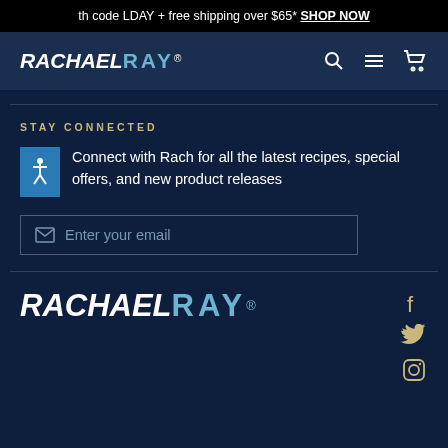th code LDAY + free shipping over $65* SHOP NOW
[Figure (logo): Rachael Ray logo in white and blue on dark navy navigation bar with search, menu, and cart icons]
STAY CONNECTED
Connect with Rach for all the latest recipes, special offers, and new product releases
Enter your email
[Figure (logo): Rachael Ray logo in white and steel blue with social media icons (Facebook, Twitter, Instagram)]